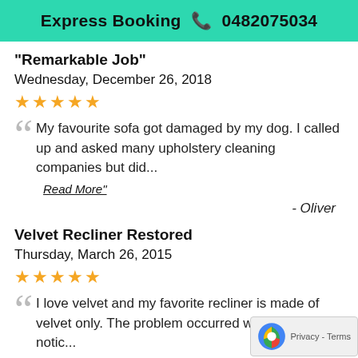Express Booking 📞 0482075034
"Remarkable Job"
Wednesday, December 26, 2018
★★★★★
My favourite sofa got damaged by my dog. I called up and asked many upholstery cleaning companies but did...
Read More"
- Oliver
Velvet Recliner Restored
Thursday, March 26, 2015
★★★★★
I love velvet and my favorite recliner is made of velvet only. The problem occurred when we s notic...